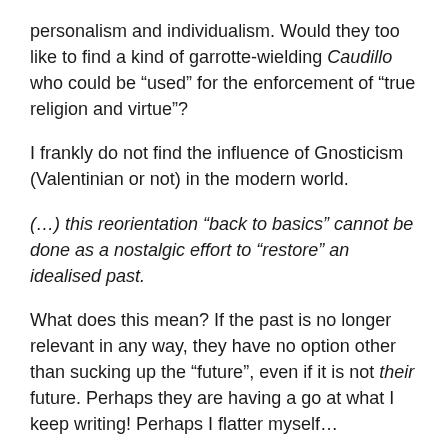personalism and individualism. Would they too like to find a kind of garrotte-wielding Caudillo who could be “used” for the enforcement of “true religion and virtue”?
I frankly do not find the influence of Gnosticism (Valentinian or not) in the modern world.
(…) this reorientation “back to basics” cannot be done as a nostalgic effort to “restore” an idealised past.
What does this mean? If the past is no longer relevant in any way, they have no option other than sucking up the “future”, even if it is not their future. Perhaps they are having a go at what I keep writing! Perhaps I flatter myself…
We have heard a lot about the “faithful remnant” over the years, and the novelty of it is wearing off. Instead of